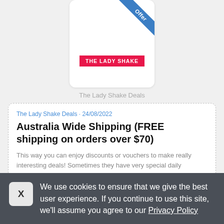[Figure (logo): The Lady Shake brand logo card with blue 'Offer' ribbon banner in top-right corner and red brand badge reading 'THE LADY SHAKE']
The Lady Shake Deals
The Lady Shake Deals · 24/08/2022
Australia Wide Shipping (FREE shipping on orders over $70)
This way you can enjoy discounts or vouchers to make really interesting deals! Sometimes they have very special daily promotional codes at The Lady Shake!
We use cookies to ensure that we give the best user experience. If you continue to use this site, we'll assume you agree to our Privacy Policy